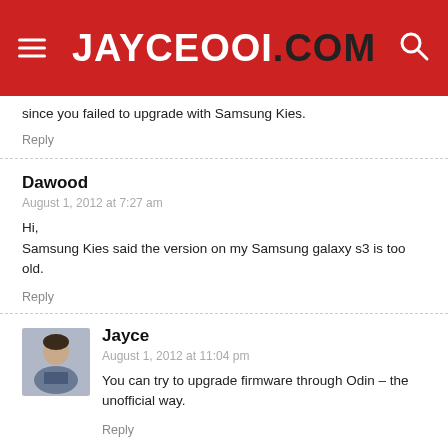JayceOoi.com
since you failed to upgrade with Samsung Kies.
Reply
Dawood
August 1, 2012 at 7:27 am
Hi,
Samsung Kies said the version on my Samsung galaxy s3 is too old.
Reply
Jayce
August 1, 2012 at 11:04 pm
You can try to upgrade firmware through Odin – the unofficial way.
Reply